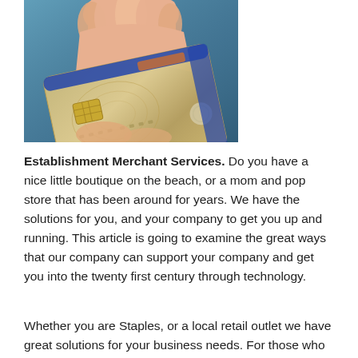[Figure (photo): A hand holding a gold/metallic credit card with chip, against a blue background.]
Establishment Merchant Services. Do you have a nice little boutique on the beach, or a mom and pop store that has been around for years. We have the solutions for you, and your company to get you up and running. This article is going to examine the great ways that our company can support your company and get you into the twenty first century through technology.
Whether you are Staples, or a local retail outlet we have great solutions for your business needs. For those who are doing point of sale purchases, we have a great selection of physical terminals that will stop that client from saying why can't they make these all